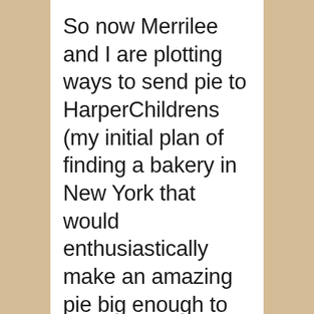So now Merrilee and I are plotting ways to send pie to HarperChildrens (my initial plan of finding a bakery in New York that would enthusiastically make an amazing pie big enough to feed 125 people seems to have been sunk by real life)